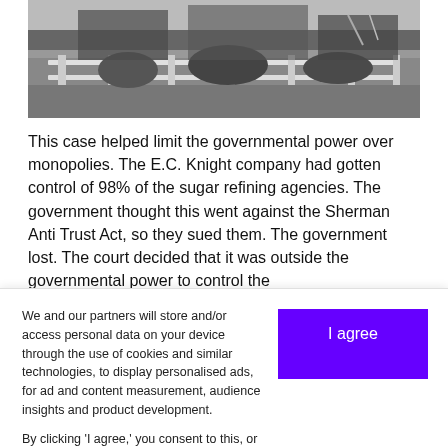[Figure (photo): Black and white photograph showing an outdoor landscape scene with fences and vegetation.]
This case helped limit the governmental power over monopolies. The E.C. Knight company had gotten control of 98% of the sugar refining agencies. The government thought this went against the Sherman Anti Trust Act, so they sued them. The government lost. The court decided that it was outside the governmental power to control the
We and our partners will store and/or access personal data on your device through the use of cookies and similar technologies, to display personalised ads, for ad and content measurement, audience insights and product development.

By clicking 'I agree,' you consent to this, or you can manage your preferences.
I agree